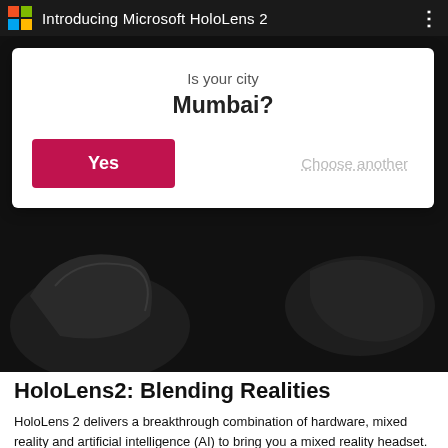Introducing Microsoft HoloLens 2
[Figure (screenshot): Screenshot of a mobile app showing a city confirmation dialog overlay on a dark HoloLens 2 product image. Dialog reads 'Is your city Mumbai?' with a red 'Yes' button and 'Choose another' link.]
HoloLens2: Blending Realities
HoloLens 2 delivers a breakthrough combination of hardware, mixed reality and artificial intelligence (AI) to bring you a mixed reality headset.